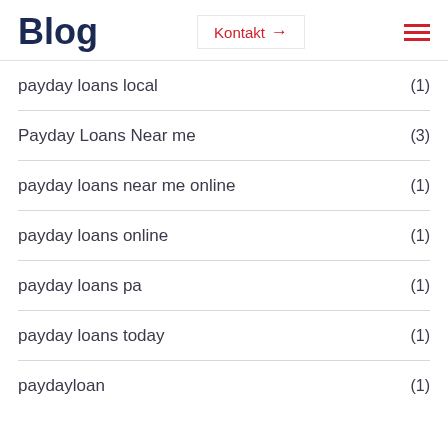Blog
payday loans local (1)
Payday Loans Near me (3)
payday loans near me online (1)
payday loans online (1)
payday loans pa (1)
payday loans today (1)
paydayloan (1)